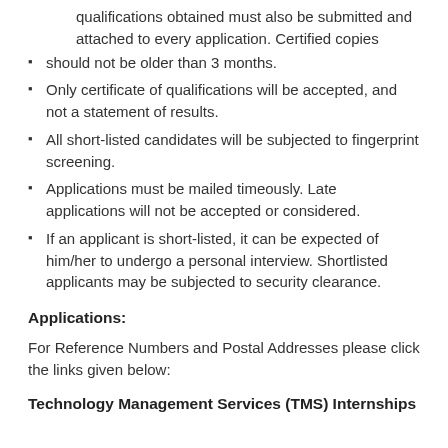qualifications obtained must also be submitted and attached to every application. Certified copies
should not be older than 3 months.
Only certificate of qualifications will be accepted, and not a statement of results.
All short-listed candidates will be subjected to fingerprint screening.
Applications must be mailed timeously. Late applications will not be accepted or considered.
If an applicant is short-listed, it can be expected of him/her to undergo a personal interview. Shortlisted applicants may be subjected to security clearance.
Applications:
For Reference Numbers and Postal Addresses please click the links given below:
Technology Management Services (TMS) Internships